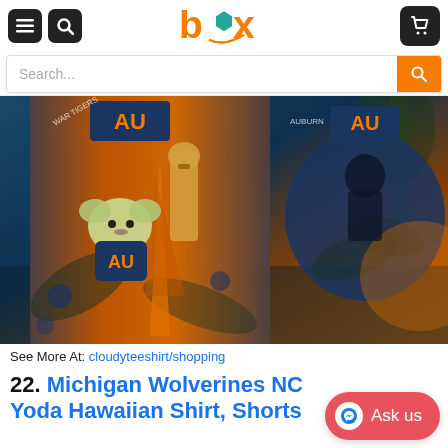box — navigation header with menu, search, and cart icons
[Figure (screenshot): Search bar with orange search button]
[Figure (photo): Auburn Tigers Baby Yoda Hawaiian Shirt product photo showing orange and navy blue shirt with Baby Yoda holding AU logo and tropical design]
See More At: cloudyteeshirt/shopping
22. Michigan Wolverines NCAA Baby Yoda Hawaiian Shirt, Shorts